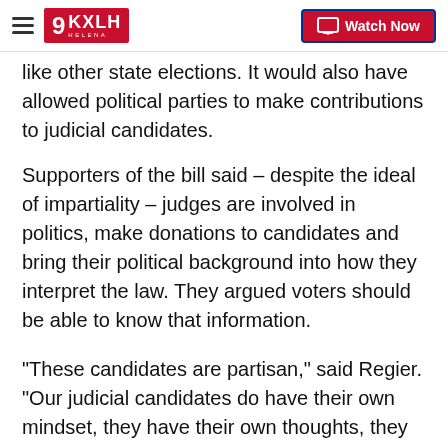KXLH Helena – Watch Now
like other state elections. It would also have allowed political parties to make contributions to judicial candidates.
Supporters of the bill said – despite the ideal of impartiality – judges are involved in politics, make donations to candidates and bring their political background into how they interpret the law. They argued voters should be able to know that information.
“These candidates are partisan,” said Regier. “Our judicial candidates do have their own mindset, they have their own thoughts, they do have their own